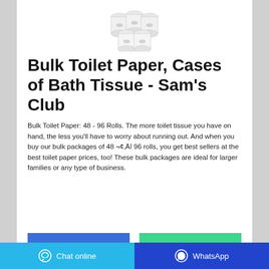[Figure (photo): Stack of white toilet paper rolls]
Bulk Toilet Paper, Cases of Bath Tissue - Sam's Club
Bulk Toilet Paper: 48 - 96 Rolls. The more toilet tissue you have on hand, the less you'll have to worry about running out. And when you buy our bulk packages of 48 ¬¢‚Äî 96 rolls, you get best sellers at the best toilet paper prices, too! These bulk packages are ideal for larger families or any type of business.
ask for price
WhatsApp
Chat online   WhatsApp